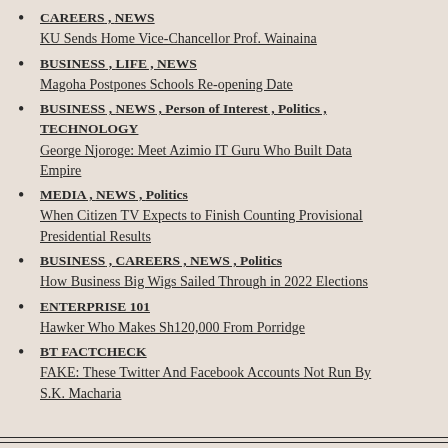CAREERS, NEWS
KU Sends Home Vice-Chancellor Prof. Wainaina
BUSINESS, LIFE, NEWS
Magoha Postpones Schools Re-opening Date
BUSINESS, NEWS, Person of Interest, Politics, TECHNOLOGY
George Njoroge: Meet Azimio IT Guru Who Built Data Empire
MEDIA, NEWS, Politics
When Citizen TV Expects to Finish Counting Provisional Presidential Results
BUSINESS, CAREERS, NEWS, Politics
How Business Big Wigs Sailed Through in 2022 Elections
ENTERPRISE 101
Hawker Who Makes Sh120,000 From Porridge
BT FACTCHECK
FAKE: These Twitter And Facebook Accounts Not Run By S.K. Macharia